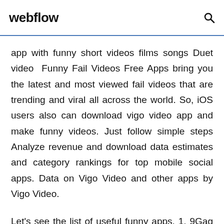webflow
app with funny short videos films songs Duet video  Funny Fail Videos Free Apps bring you the latest and most viewed fail videos that are trending and viral all across the world. So, iOS users also can download vigo video app and make funny videos. Just follow simple steps Analyze revenue and download data estimates and category rankings for top mobile social apps. Data on Vigo Video and other apps by Vigo Video.
Let's see the list of useful funny apps. 1. 9Gag Funny GIFs, Photos, Videos ( for iPhone & Android ) - 9Gag is one of the oldest platforms